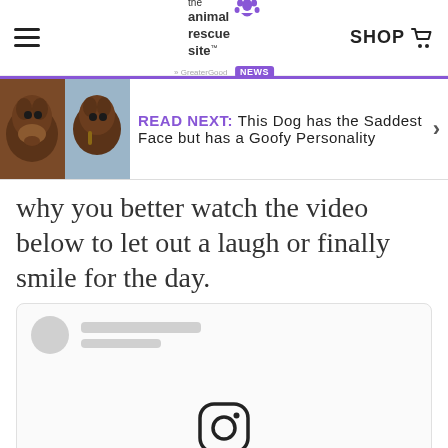the animal rescue site · SHOP
[Figure (screenshot): Read Next banner with two chocolate Labrador dog photos and text: READ NEXT: This Dog has the Saddest Face but has a Goofy Personality]
why you better watch the video below to let out a laugh or finally smile for the day.
[Figure (screenshot): Embedded social media post placeholder with gray avatar, two gray placeholder text bars, and Instagram icon at bottom center]